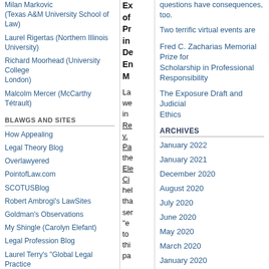Milan Markovic (Texas A&M University School of Law)
Laurel Rigertas (Northern Illinois University)
Richard Moorhead (University College London)
Malcolm Mercer (McCarthy Tétrault)
BLAWGS AND SITES
How Appealing
Legal Theory Blog
Overlawyered
PointofLaw.com
SCOTUSBlog
Robert Ambrogi's LawSites
Goldman's Observations
My Shingle (Carolyn Elefant)
Legal Profession Blog
Laurel Terry's "Global Legal Practice Resource Page"
Ex of Pr in De En M La we in Re v. Pa the Ele Ci hel tha ser "e to thi pa
questions have consequences, too.
Two terrific virtual events are
Fred C. Zacharias Memorial Prize for Scholarship in Professional Responsibility
The Exposure Draft and Judicial Ethics
ARCHIVES
January 2022
January 2021
December 2020
August 2020
July 2020
June 2020
May 2020
March 2020
January 2020
December 2019
More...